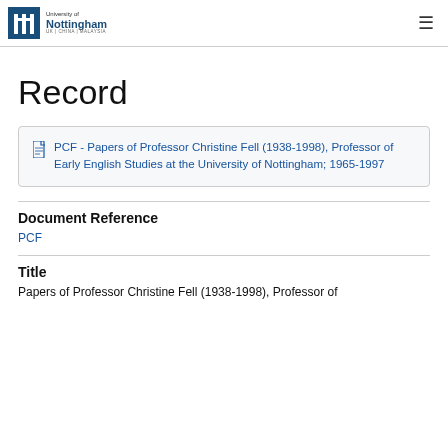University of Nottingham — navigation header
Record
PCF - Papers of Professor Christine Fell (1938-1998), Professor of Early English Studies at the University of Nottingham; 1965-1997
Document Reference
PCF
Title
Papers of Professor Christine Fell (1938-1998), Professor of